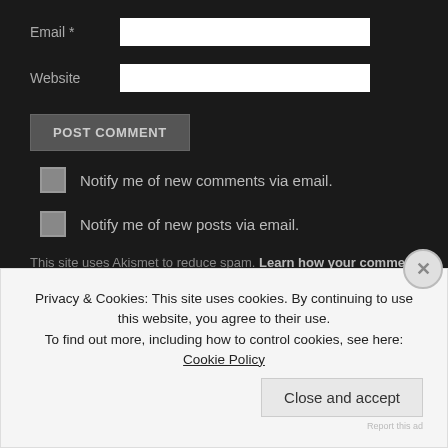Email *
Website
POST COMMENT
Notify me of new comments via email.
Notify me of new posts via email.
This site uses Akismet to reduce spam. Learn how your comment data is proce...
May 6, 2013   Photography   1 Comment
Privacy & Cookies: This site uses cookies. By continuing to use this website, you agree to their use. To find out more, including how to control cookies, see here: Cookie Policy
Close and accept
Report this ad